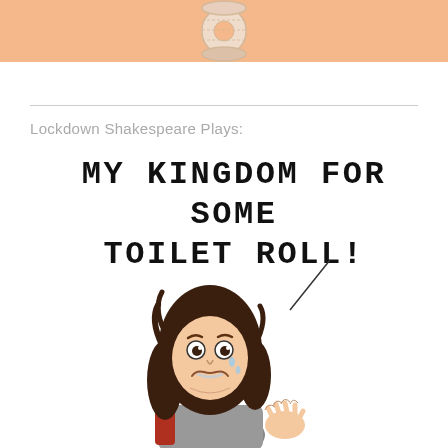[Figure (illustration): Top panel with peach/orange background showing a toilet paper roll illustration]
Lockdown Shakespeare Plays:
MY KINGDOM FOR SOME TOILET ROLL!
[Figure (illustration): Cartoon illustration of a distressed medieval character with long dark hair, wide eyes, tears, wearing armor, with a speech bubble line, crying out desperately]